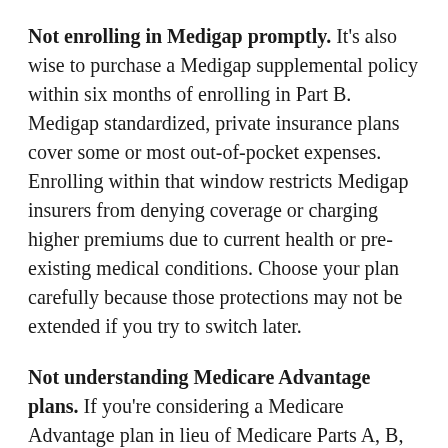Not enrolling in Medigap promptly. It's also wise to purchase a Medigap supplemental policy within six months of enrolling in Part B. Medigap standardized, private insurance plans cover some or most out-of-pocket expenses. Enrolling within that window restricts Medigap insurers from denying coverage or charging higher premiums due to current health or pre-existing medical conditions. Choose your plan carefully because those protections may not be extended if you try to switch later.
Not understanding Medicare Advantage plans. If you're considering a Medicare Advantage plan in lieu of Medicare Parts A, B, and D, look beyond lower premiums and compare deductibles, copayments, and out-of-pocket costs. Bear in mind these plans may have more restrictions. And be sure to compare star ratings provided